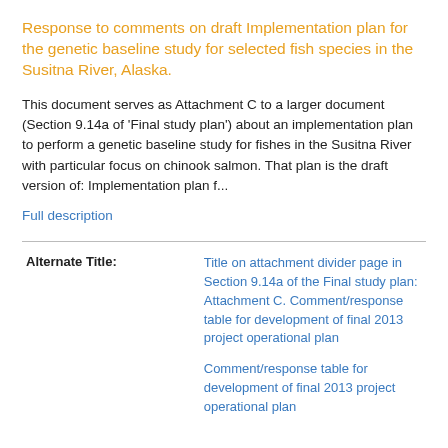Response to comments on draft Implementation plan for the genetic baseline study for selected fish species in the Susitna River, Alaska.
This document serves as Attachment C to a larger document (Section 9.14a of 'Final study plan') about an implementation plan to perform a genetic baseline study for fishes in the Susitna River with particular focus on chinook salmon. That plan is the draft version of: Implementation plan f...
Full description
| Alternate Title: |
| --- |
| Title on attachment divider page in Section 9.14a of the Final study plan: Attachment C. Comment/response table for development of final 2013 project operational plan |
| Comment/response table for development of final 2013 project operational plan |